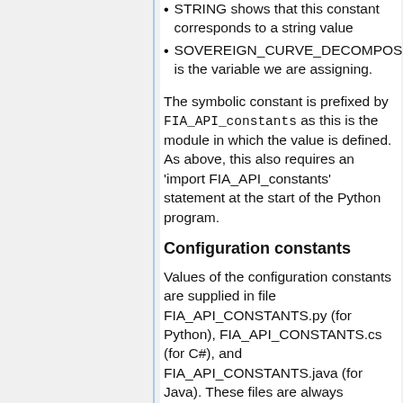STRING shows that this constant corresponds to a string value
SOVEREIGN_CURVE_DECOMPOSITION is the variable we are assigning.
The symbolic constant is prefixed by FIA_API_constants as this is the module in which the value is defined. As above, this also requires an 'import FIA_API_constants' statement at the start of the Python program.
Configuration constants
Values of the configuration constants are supplied in file FIA_API_CONSTANTS.py (for Python), FIA_API_CONSTANTS.cs (for C#), and FIA_API_CONSTANTS.java (for Java). These files are always supplied with the